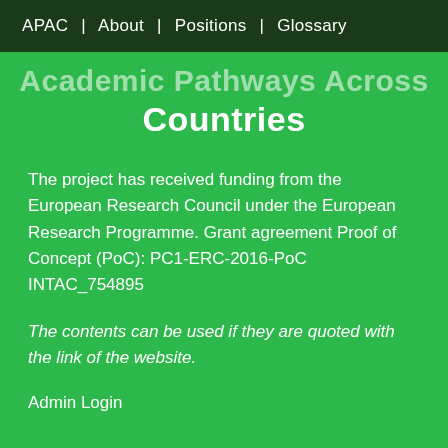APAC | About | Positions | Glossary
Academic Pathways Across Countries
The project has received funding from the European Research Council under the European Research Programme. Grant agreement Proof of Concept (PoC): PC1-ERC-2016-PoC INTAC_754895
The contents can be used if they are quoted with the link of the website.
Admin Login